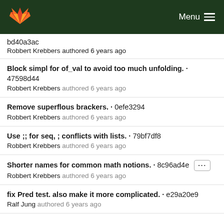Menu
bd40a3ac
Robbert Krebbers authored 6 years ago
Block simpl for of_val to avoid too much unfolding. · 47598d44
Robbert Krebbers authored 6 years ago
Remove superflous brackers. · 0efe3294
Robbert Krebbers authored 6 years ago
Use ;; for seq, ; conflicts with lists. · 79bf7df8
Robbert Krebbers authored 6 years ago
Shorter names for common math notions. · 8c96ad4e
Robbert Krebbers authored 6 years ago
fix Pred test. also make it more complicated. · e29a20e9
Ralf Jung authored 6 years ago